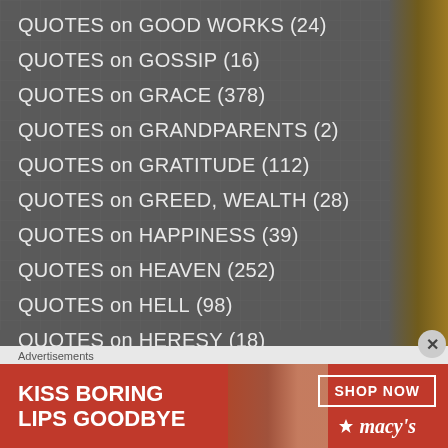QUOTES on GOOD WORKS (24)
QUOTES on GOSSIP (16)
QUOTES on GRACE (378)
QUOTES on GRANDPARENTS (2)
QUOTES on GRATITUDE (112)
QUOTES on GREED, WEALTH (28)
QUOTES on HAPPINESS (39)
QUOTES on HEAVEN (252)
QUOTES on HELL (98)
QUOTES on HERESY (18)
QUOTES on HOPE (143)
Advertisements
[Figure (photo): Macy's advertisement banner: red background with a woman's face, text 'KISS BORING LIPS GOODBYE', 'SHOP NOW' button, and Macy's star logo]